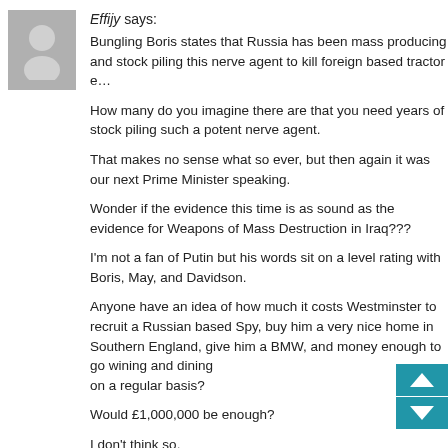Effijy says:
Bungling Boris states that Russia has been mass producing and stock piling this nerve agent to kill foreign based tractor e…
How many do you imagine there are that you need years of stock piling such a potent nerve agent.
That makes no sense what so ever, but then again it was our next Prime Minister speaking.
Wonder if the evidence this time is as sound as the evidence for Weapons of Mass Destruction in Iraq???
I'm not a fan of Putin but his words sit on a level rating with Boris, May, and Davidson.
Anyone have an idea of how much it costs Westminster to recruit a Russian based Spy, buy him a very nice home in Southern England, give him a BMW, and money enough to go wining and dining on a regular basis?
Would £1,000,000 be enough?
I don't think so.